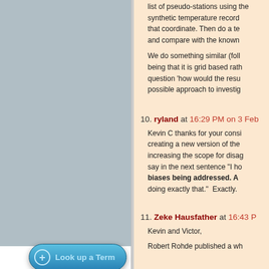list of pseudo-stations using the synthetic temperature record at that coordinate. Then do a test and compare with the known
We do something similar (following being that it is grid based rather than question 'how would the result be possible approach to investig...
10. ryland at 16:29 PM on 3 Feb
Kevin C thanks for your consideration creating a new version of the increasing the scope for disagreement say in the next sentence "I ho... biases being addressed. A doing exactly that."  Exactly.
11. Zeke Hausfather at 16:43 P
Kevin and Victor,
Robert Rohde published a wh...
[Figure (other): Look up a Term button with plus icon, blue rounded button at bottom left of left panel]